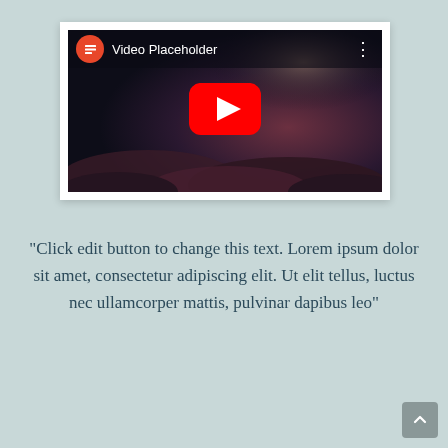[Figure (screenshot): YouTube-style video placeholder embedded in a white card. Shows an orange Elementor icon circle, 'Video Placeholder' title text, three-dot menu, a dark cosmic/nebula background image, and a red YouTube play button in the center with 'Choose Video' text partially visible behind it.]
"Click edit button to change this text. Lorem ipsum dolor sit amet, consectetur adipiscing elit. Ut elit tellus, luctus nec ullamcorper mattis, pulvinar dapibus leo"